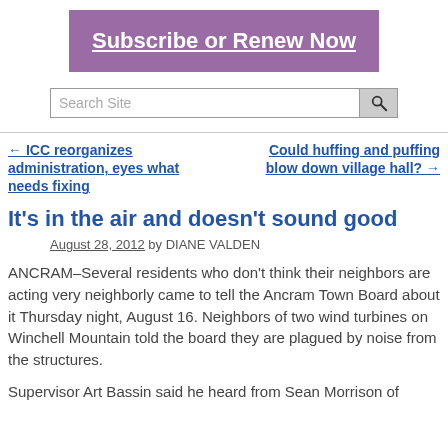[Figure (other): Purple banner button with white underlined bold text: Subscribe or Renew Now]
[Figure (screenshot): Search Site input box with magnifying glass search button]
← ICC reorganizes administration, eyes what needs fixing
Could huffing and puffing blow down village hall? →
It's in the air and doesn't sound good
August 28, 2012 by DIANE VALDEN
ANCRAM–Several residents who don't think their neighbors are acting very neighborly came to tell the Ancram Town Board about it Thursday night, August 16. Neighbors of two wind turbines on Winchell Mountain told the board they are plagued by noise from the structures.
Supervisor Art Bassin said he heard from Sean Morrison of